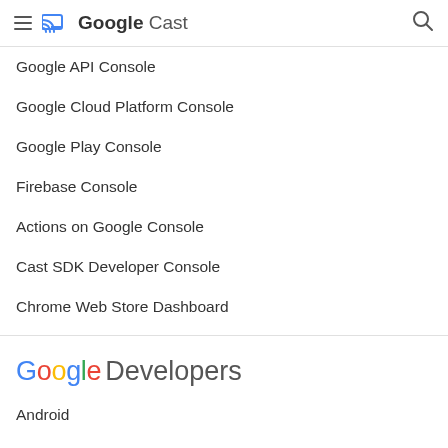Google Cast
Google API Console
Google Cloud Platform Console
Google Play Console
Firebase Console
Actions on Google Console
Cast SDK Developer Console
Chrome Web Store Dashboard
[Figure (logo): Google Developers logo with colorful Google text and grey Developers text]
Android
Chrome
Firebase